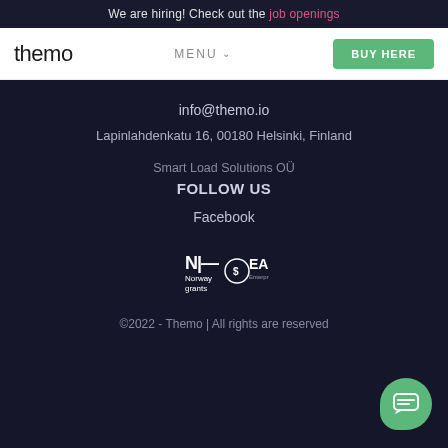We are hiring! Check out the job openings
themo
MENU
BUY HERE
info@themo.io
Lapinlahdenkatu 16, 00180 Helsinki, Finland
Smart Load Solutions OÜ
FOLLOW US
Facebook
[Figure (logo): Norway grants and EAS Enterprise Estonia logos in white on dark background]
©2022 - Themo | All rights are reserved